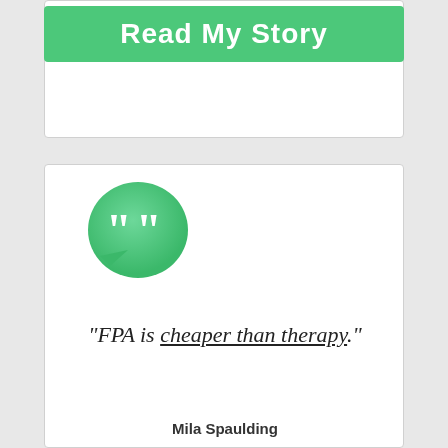[Figure (illustration): Green button with white bold text reading 'Read My Story']
[Figure (illustration): Green speech bubble icon with white quotation marks]
“FPA is cheaper than therapy.”
Mila Spaulding